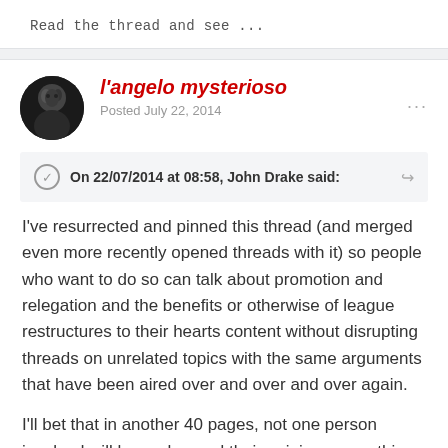Read the thread and see ...
l'angelo mysterioso
Posted July 22, 2014
On 22/07/2014 at 08:58, John Drake said:
I've resurrected and pinned this thread (and merged even more recently opened threads with it) so people who want to do so can talk about promotion and relegation and the benefits or otherwise of league restructures to their hearts content without disrupting threads on unrelated topics with the same arguments that have been aired over and over and over again.

I'll bet that in another 40 pages, not one person involved will have changed their opinion on anything.

At least this way, people who are totally bored with the